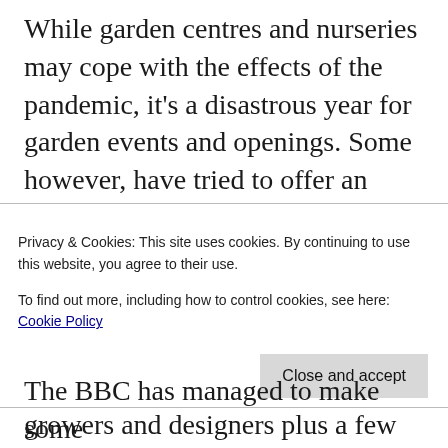While garden centres and nurseries may cope with the effects of the pandemic, it's a disastrous year for garden events and openings. Some however, have tried to offer an online alternative.
The Chelsea Flower Show is the biggest of these online events. For the week, the RHS had a programme of short talks by growers and designers plus a few visits to
Privacy & Cookies: This site uses cookies. By continuing to use this website, you agree to their use.
To find out more, including how to control cookies, see here: Cookie Policy
Close and accept
The BBC has managed to make some